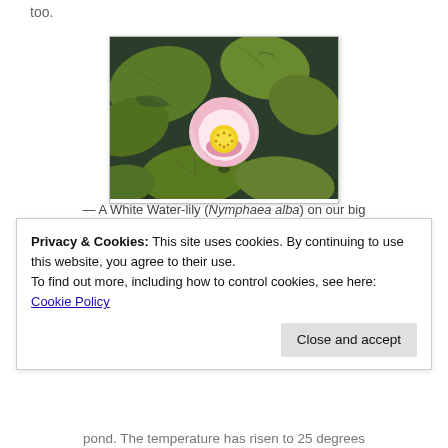too.
[Figure (photo): A pink White Water-lily (Nymphaea alba) with yellow center floating on dark green pond water surrounded by large green lily pads.]
— A White Water-lily (Nymphaea alba) on our big
Privacy & Cookies: This site uses cookies. By continuing to use this website, you agree to their use.
To find out more, including how to control cookies, see here: Cookie Policy
pond. The temperature has risen to 25 degrees